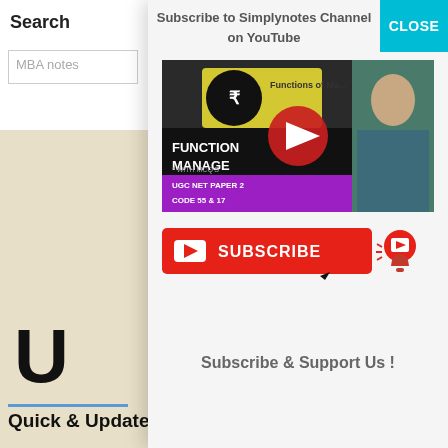Search
MBA notes
[Figure (screenshot): Modal popup overlay on a website showing a YouTube subscription prompt with a video thumbnail for 'Functions of Ma...' (Functions of Management), a red Subscribe button with bell icon, and a CLOSE button in teal. The modal says 'Subscribe to Simplynotes Channel on YouTube' and 'Subscribe & Support Us !']